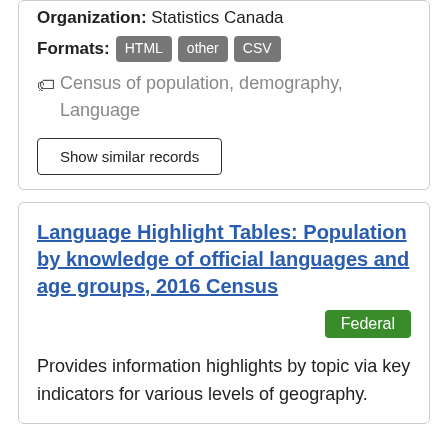Organization: Statistics Canada
Formats: HTML other CSV
Census of population, demography, Language
Show similar records
Language Highlight Tables: Population by knowledge of official languages and age groups, 2016 Census
Federal
Provides information highlights by topic via key indicators for various levels of geography.